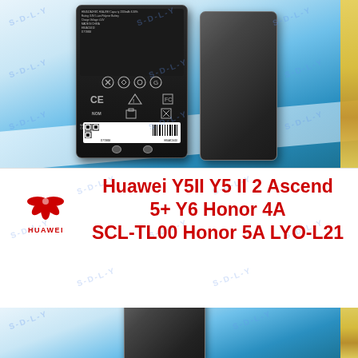[Figure (photo): Product photo of Huawei battery shown from front (labeled side with regulatory markings, barcode, QR code) and back (plain dark plastic), displayed against a blue and white gradient background with diagonal stripe accents and a gold stripe on the right edge.]
[Figure (logo): Huawei logo: red flower/petal design with HUAWEI text below in red.]
Huawei Y5II Y5 II 2 Ascend 5+ Y6 Honor 4A SCL-TL00 Honor 5A LYO-L21
[Figure (photo): Bottom portion showing the back of the Huawei battery (dark grey/black plain plastic) against a blue gradient background with gold stripe on the right.]